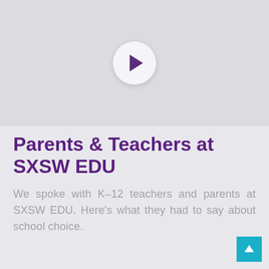[Figure (other): Video thumbnail placeholder with a circular play button (purple triangle) on a light gray background]
Parents & Teachers at SXSW EDU
We spoke with K–12 teachers and parents at SXSW EDU. Here's what they had to say about school choice.